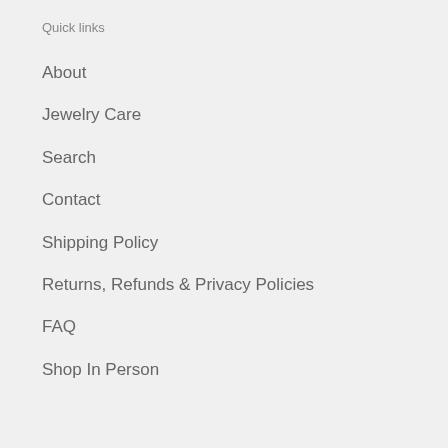Quick links
About
Jewelry Care
Search
Contact
Shipping Policy
Returns, Refunds & Privacy Policies
FAQ
Shop In Person